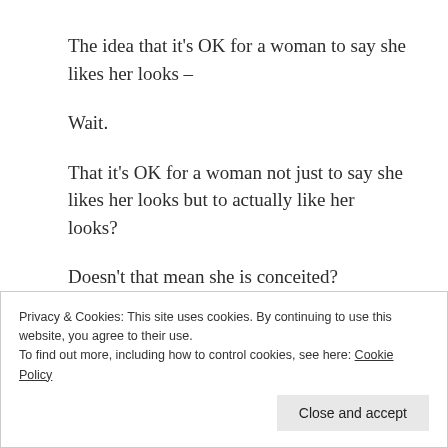The idea that it's OK for a woman to say she likes her looks –
Wait.
That it's OK for a woman not just to say she likes her looks but to actually like her looks?
Doesn't that mean she is conceited?
Are we even allowed? This is not our culture. This is not how we are supposed to be. This is not what our
Privacy & Cookies: This site uses cookies. By continuing to use this website, you agree to their use.
To find out more, including how to control cookies, see here: Cookie Policy